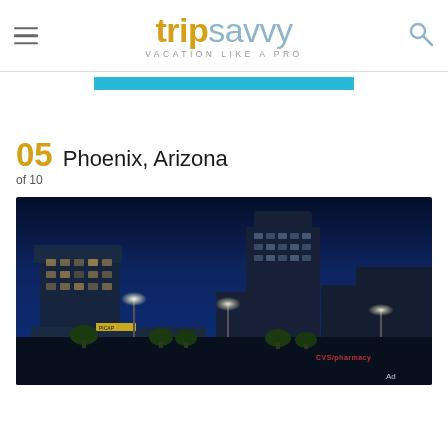tripsavvy VACATION LIKE A PRO
05  Phoenix, Arizona
of 10
[Figure (photo): Nighttime skyline of Phoenix, Arizona downtown with illuminated buildings, street lights, trees, and a dark blue sky]